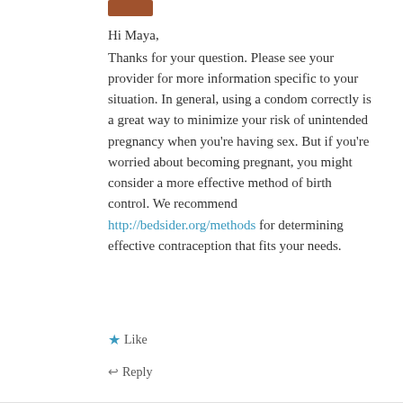[Figure (photo): Small avatar/profile image thumbnail at top]
Hi Maya,
Thanks for your question. Please see your provider for more information specific to your situation. In general, using a condom correctly is a great way to minimize your risk of unintended pregnancy when you’re having sex. But if you’re worried about becoming pregnant, you might consider a more effective method of birth control. We recommend http://bedsider.org/methods for determining effective contraception that fits your needs.
★ Like
↩ Reply